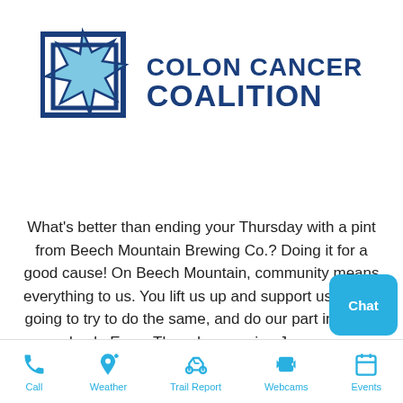[Figure (logo): Colon Cancer Coalition logo with blue star and text]
What's better than ending your Thursday with a pint from Beech Mountain Brewing Co.? Doing it for a good cause! On Beech Mountain, community means everything to us. You lift us up and support us. We're going to try to do the same, and do our part in giving back. Every Thursday, running January
Call | Weather | Trail Report | Webcams | Events